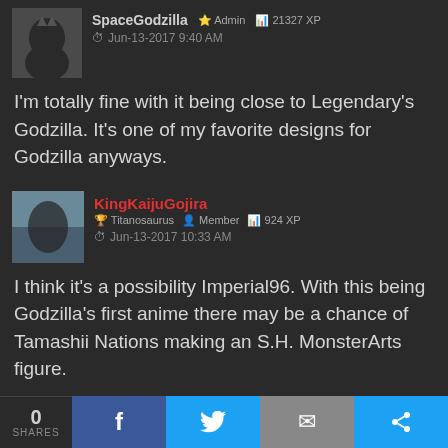SpaceGodzilla | Admin | 21327 XP | Jun-13-2017 9:40 AM
I'm totally fine with it being close to Legendary's Godzilla. It's one of my favorite designs for Godzilla anyways.
KingKaijuGojira | Titanosaurus | Member | 924 XP | Jun-13-2017 10:33 AM
I think it's a possibility Imperial96. With this being Godzilla's first anime there may be a chance of Tamashii Nations making an S.H. MonsterArts figure.
Kaiju-Man257 | Baragon | Member | 115 XP
0 SHARES | f | Twitter | mail | share